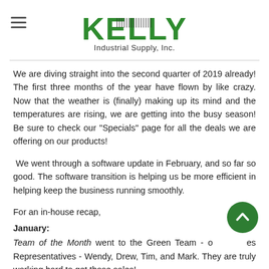KELLY Industrial Supply, Inc.
We are diving straight into the second quarter of 2019 already! The first three months of the year have flown by like crazy. Now that the weather is (finally) making up its mind and the temperatures are rising, we are getting into the busy season! Be sure to check our "Specials" page for all the deals we are offering on our products!
We went through a software update in February, and so far so good. The software transition is helping us be more efficient in helping keep the business running smoothly.
For an in-house recap,
January:
Team of the Month went to the Green Team - our Sales Representatives - Wendy, Drew, Tim, and Mark. They are truly working hard to get those sales!
Employee of the Month went to the Red Team's Warehouse...